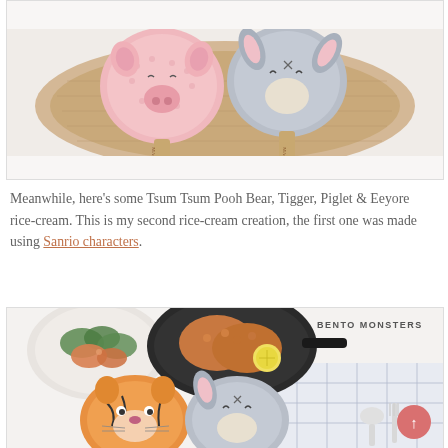[Figure (photo): Two Tsum Tsum character ice cream pops (Piglet in pink and Eeyore in grey) on a wooden cutting board, viewed from above. Each has a Magnum-branded wooden stick.]
Meanwhile, here's some Tsum Tsum Pooh Bear, Tigger, Piglet & Eeyore rice-cream. This is my second rice-cream creation, the first one was made using Sanrio characters.
[Figure (photo): Bento meal with Tigger and Eeyore shaped rice balls, fried chicken, vegetables, in a pan and bowl, with utensils on a checked cloth. BENTO MONSTERS watermark in top right.]